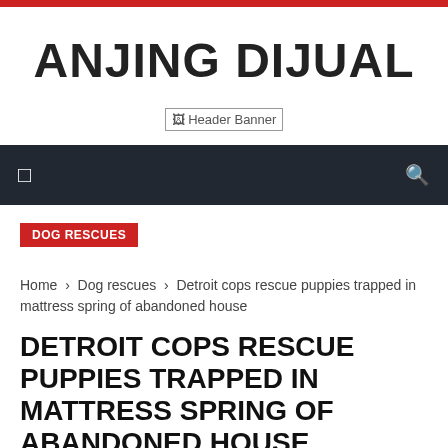ANJING DIJUAL
[Figure (other): Header Banner placeholder image]
DOG RESCUES
Home › Dog rescues › Detroit cops rescue puppies trapped in mattress spring of abandoned house
DETROIT COPS RESCUE PUPPIES TRAPPED IN MATTRESS SPRING OF ABANDONED HOUSE